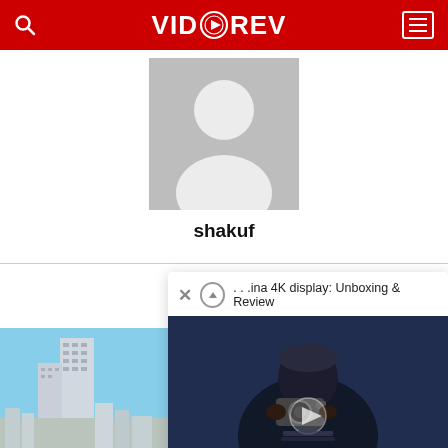VIDOREV
[Figure (illustration): Generic user profile avatar silhouette on gray background]
shakuf
...ina 4K display: Unboxing & Review
[Figure (photo): Person holding a camera taking a selfie in a dark setting with blue background]
[Figure (photo): Tall modern skyscraper against blue sky with city buildings below]